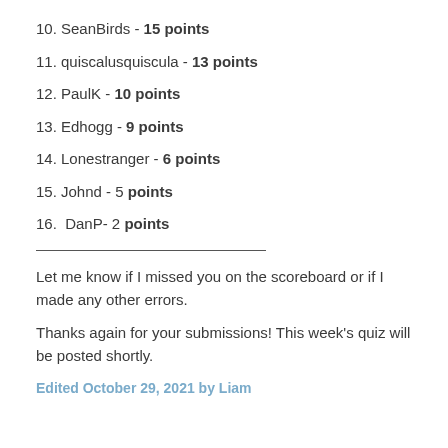10. SeanBirds - 15 points
11. quiscalusquiscula - 13 points
12. PaulK - 10 points
13. Edhogg - 9 points
14. Lonestranger - 6 points
15. Johnd - 5 points
16.  DanP- 2 points
Let me know if I missed you on the scoreboard or if I made any other errors.
Thanks again for your submissions! This week's quiz will be posted shortly.
Edited October 29, 2021 by Liam